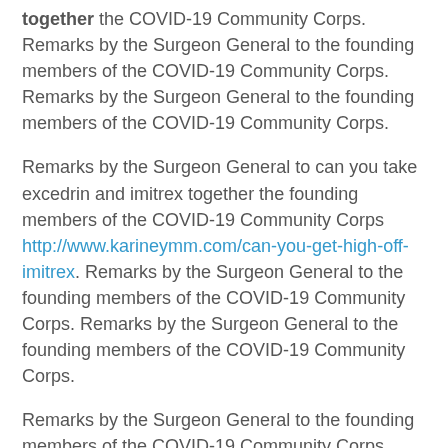together the COVID-19 Community Corps. Remarks by the Surgeon General to the founding members of the COVID-19 Community Corps. Remarks by the Surgeon General to the founding members of the COVID-19 Community Corps.
Remarks by the Surgeon General to can you take excedrin and imitrex together the founding members of the COVID-19 Community Corps http://www.karineymm.com/can-you-get-high-off-imitrex. Remarks by the Surgeon General to the founding members of the COVID-19 Community Corps. Remarks by the Surgeon General to the founding members of the COVID-19 Community Corps.
Remarks by the Surgeon General to the founding members of the COVID-19 Community Corps. Remarks by the Surgeon General to the can you take excedrin and imitrex together founding members of the COVID-19 Community Corps. Remarks by the Surgeon General to